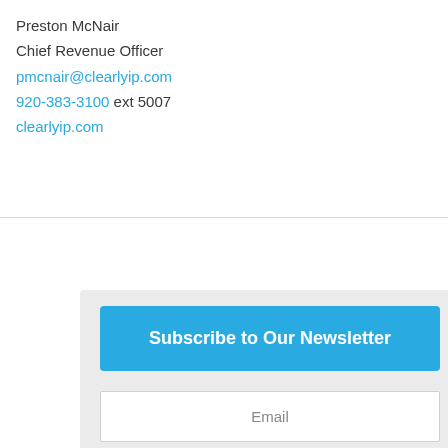Preston McNair
Chief Revenue Officer
pmcnair@clearlyip.com
920-383-3100 ext 5007
clearlyip.com
Subscribe to Our Newsletter
Email
Name